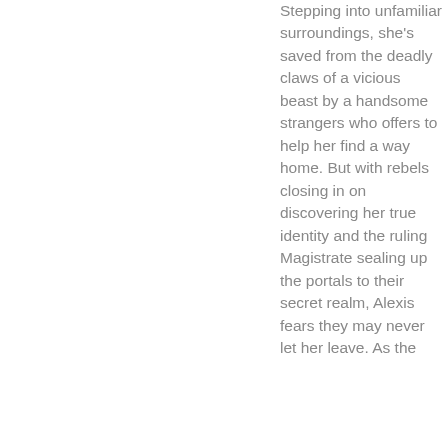Stepping into unfamiliar surroundings, she's saved from the deadly claws of a vicious beast by a handsome strangers who offers to help her find a way home. But with rebels closing in on discovering her true identity and the ruling Magistrate sealing up the portals to their secret realm, Alexis fears they may never let her leave. As the